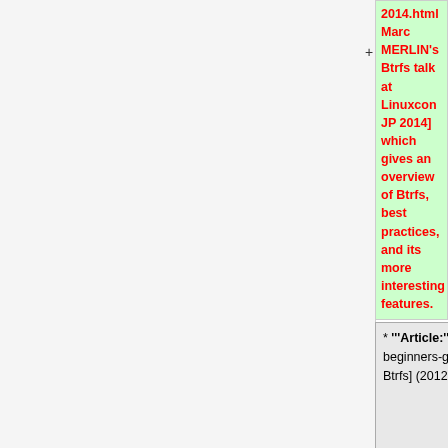2014.html Marc MERLIN's Btrfs talk at Linuxcon JP 2014] which gives an overview of Btrfs, best practices, and its more interesting features.
* '''Article:''' [http://www.howtoforge.com/a-beginners-guide-to-btrfs A Beginner's Guide To Btrfs] (2012-11-26)
* '''Article:''' [http://www.howtoforge.com/a-beginners-guide-to-btrfs A Beginner's Guide To Btrfs] (2012-11-26)
* '''Article:''' [http://www.oracle.com/technetwork/articles/servers-storage-admin/advanced-btrfs-1734952.html How I Use the Advanced Capabilities of Btrfs] by Margaret Bierman with Lenz Grimmer (2012-08-
* '''Article:''' [http://www.oracle.com/technetwork/articles/servers-storage-admin/advanced-btrfs-1734952.html How I Use the Advanced Capabilities of Btrfs] by Margaret Bierman with Lenz Grimmer (2012-08-